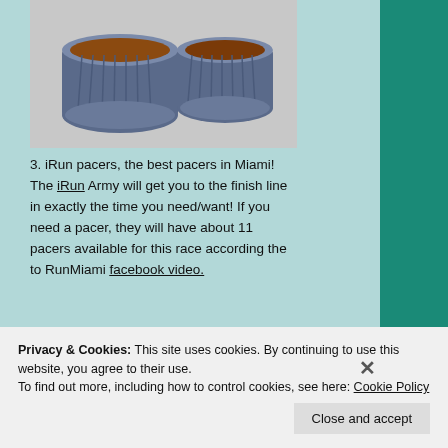[Figure (photo): Two ceramic cups/ramekins filled with a brown liquid (likely espresso or sauce) on a light grey surface]
3. iRun pacers, the best pacers in Miami! The iRun Army will get you to the finish line in exactly the time you need/want! If you need a pacer, they will have about 11 pacers available for this race according the to RunMiami facebook video.
[Figure (photo): Outdoor night/dusk scene with palm trees and a billboard or sign visible]
Privacy & Cookies: This site uses cookies. By continuing to use this website, you agree to their use.
To find out more, including how to control cookies, see here: Cookie Policy